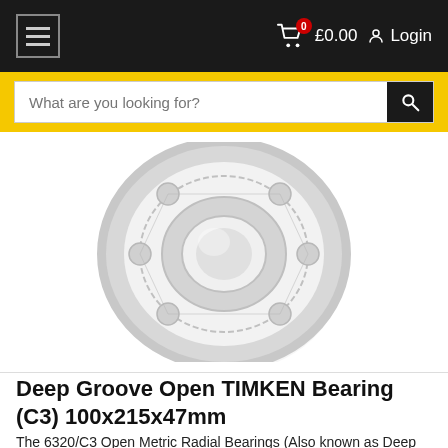≡  £0.00  Login
What are you looking for?
[Figure (photo): A deep groove open ball bearing (TIMKEN 6320/C3) photographed on a white background. The bearing shows the inner ring, outer ring, ball elements, and cage assembly. The image is light grey/white toned.]
Deep Groove Open TIMKEN Bearing (C3) 100x215x47mm
The 6320/C3 Open Metric Radial Bearings (Also known as Deep Groove or Single Row Bearings) are ideal for Car and Motorbike repair